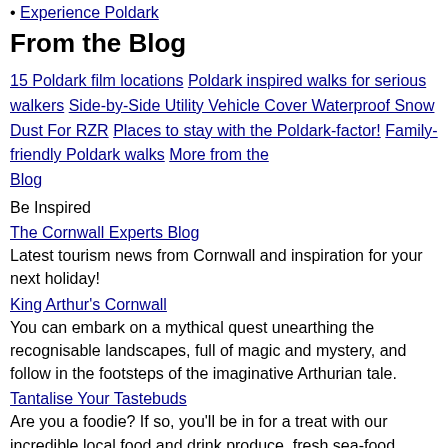Experience Poldark
From the Blog
15 Poldark film locations
Poldark inspired walks for serious walkers
Side-by-Side Utility Vehicle Cover Waterproof Snow Dust For RZR
Places to stay with the Poldark-factor!
Family-friendly Poldark walks
More from the Blog
Be Inspired
The Cornwall Experts Blog
Latest tourism news from Cornwall and inspiration for your next holiday!
King Arthur's Cornwall
You can embark on a mythical quest unearthing the recognisable landscapes, full of magic and mystery, and follow in the footsteps of the imaginative Arthurian tale.
Tantalise Your Tastebuds
Are you a foodie? If so, you'll be in for a treat with our incredible local food and drink produce, fresh sea-food, Cornish pasties and